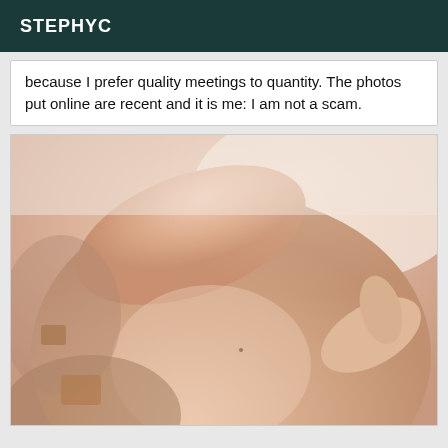STEPHYC
because I prefer quality meetings to quantity. The photos put online are recent and it is me: I am not a scam.
[Figure (photo): Close-up photo of a person's body, skin tones visible, outdoor setting with light background.]